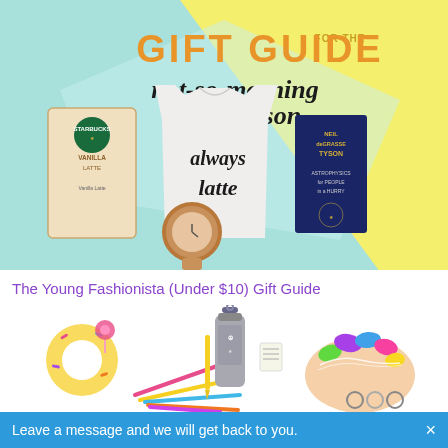[Figure (illustration): Gift Guide for the not-so-morning person. Yellow and teal background with products: Starbucks Vanilla Latte box, white 'always late' t-shirt, Neil deGrasse Tyson book, rose gold watch.]
The Young Fashionista (Under $10) Gift Guide
[Figure (photo): Young fashionista gift guide items: donut-shaped fidget/toy, decorated water bottle, colorful hair bands or rubber bands held in hands, colorful pencils/sticks arranged.]
Leave a message and we will get back to you.  ×